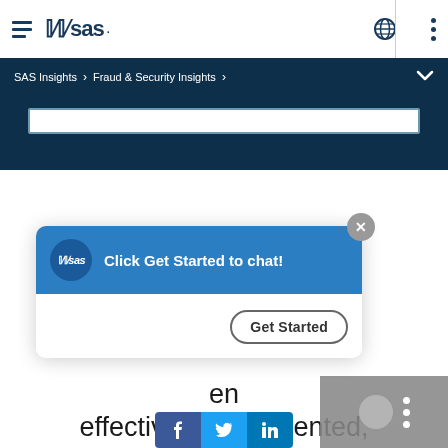[Figure (screenshot): SAS website navigation bar with hamburger menu icon, SAS logo, globe icon, vertical divider, and three-dot menu icon]
SAS Insights > Fraud & Security Insights >
[Figure (screenshot): Dark navy banner with a search input box]
[Figure (screenshot): SAS chat popup widget with blue header showing SAS logo and text 'Click Get Started to chat!' with a Get Started button and X close button]
en effectively implemented, mitigate the adverse effects of
[Figure (screenshot): Social sharing bar with Facebook, Twitter, and LinkedIn icons, plus a gray overlay with dots icon]